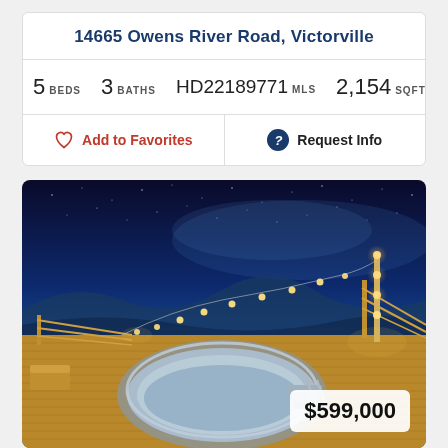14665 Owens River Road, Victorville
5 BEDS   3 BATHS   HD22189771 MLS   2,154 SQFT.
Add to Favorites   Request Info
[Figure (photo): Nighttime photo of a rooftop deck with a round hot tub/spa, string lights, wooden decking, and a starry blue sky in the background. A price badge showing $599,000 is overlaid in the bottom right corner.]